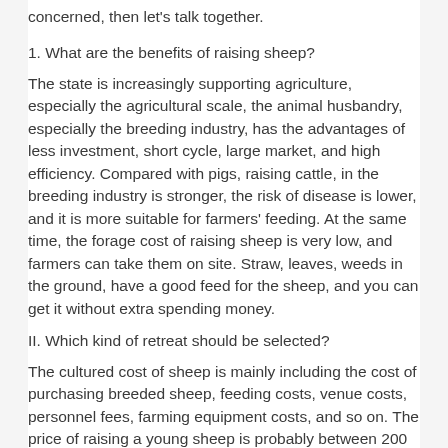concerned, then let's talk together.
1. What are the benefits of raising sheep?
The state is increasingly supporting agriculture, especially the agricultural scale, the animal husbandry, especially the breeding industry, has the advantages of less investment, short cycle, large market, and high efficiency. Compared with pigs, raising cattle, in the breeding industry is stronger, the risk of disease is lower, and it is more suitable for farmers' feeding. At the same time, the forage cost of raising sheep is very low, and farmers can take them on site. Straw, leaves, weeds in the ground, have a good feed for the sheep, and you can get it without extra spending money.
II. Which kind of retreat should be selected?
The cultured cost of sheep is mainly including the cost of purchasing breeded sheep, feeding costs, venue costs, personnel fees, farming equipment costs, and so on. The price of raising a young sheep is probably between 200 yuan to 400 yuan, and the cost of food is about 800 yuan